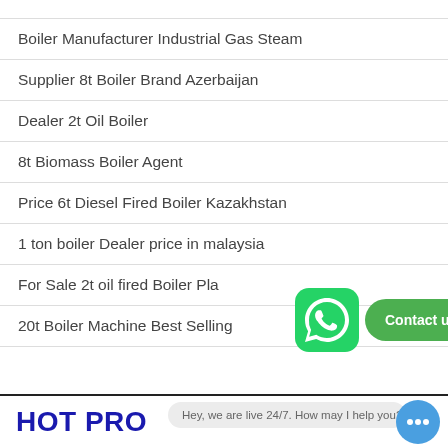Boiler Manufacturer Industrial Gas Steam
Supplier 8t Boiler Brand Azerbaijan
Dealer 2t Oil Boiler
8t Biomass Boiler Agent
Price 6t Diesel Fired Boiler Kazakhstan
1 ton boiler Dealer price in malaysia
For Sale 2t oil fired Boiler Pla
[Figure (other): WhatsApp icon button (green circle with phone handset)]
[Figure (other): Green Contact us now! button]
20t Boiler Machine Best Selling
HOT PRO
Hey, we are live 24/7. How may I help you?
[Figure (other): Blue chat bubble icon with ellipsis]